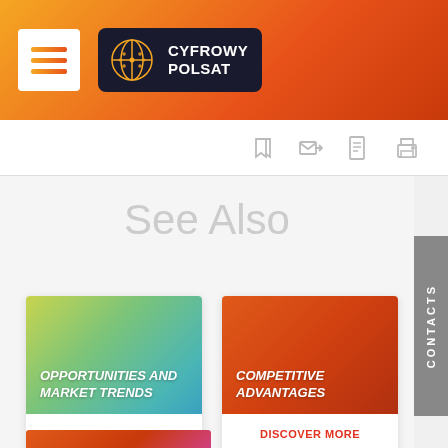[Figure (logo): Cyfrowy Polsat logo with hamburger menu icon on orange gradient header]
[Figure (infographic): Toolbar with bookmark, email, document, and print icons]
See Also
[Figure (infographic): Card: OPPORTUNITIES AND MARKET TRENDS with teal-green gradient background]
DISCOVER MORE
[Figure (infographic): Card: COMPETITIVE ADVANTAGES with red-orange gradient background]
DISCOVER MORE